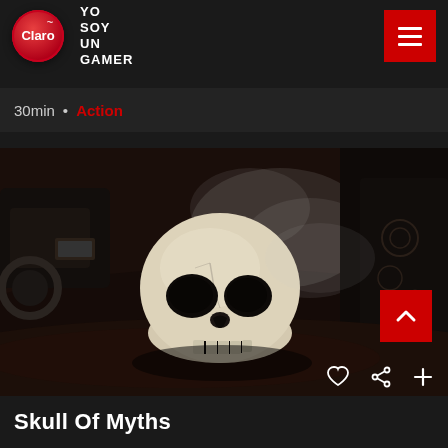Claro / YO SOY UN GAMER
Thieve The Bank
30min • Action
[Figure (photo): A human skull resting on dark ground with smoke/fog around it, motorcycles and dark tree textures in the background. Dark, moody horror/action aesthetic.]
Skull Of Myths